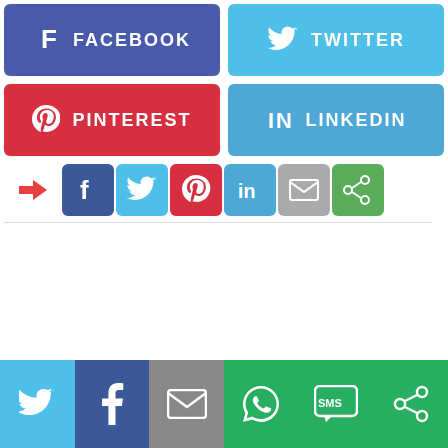[Figure (screenshot): Social media share buttons: large Facebook (blue-purple) and Twitter (light blue) buttons in top row, Pinterest (red) and LinkedIn (light blue) buttons in second row, followed by a small icon bar with share/Facebook/Twitter/Pinterest/LinkedIn/email/green icons, then at the bottom a horizontal bar with Twitter, Facebook, email, WhatsApp, SMS, and other share icons.]